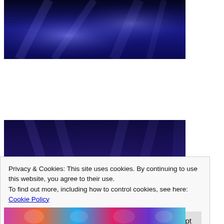[Figure (photo): Top portion of a stage performance photo with blue lighting, partially cropped]
[Figure (photo): Stage performance with dancers under purple/blue UV lighting with colorful chairs and spot lights]
Privacy & Cookies: This site uses cookies. By continuing to use this website, you agree to their use.
To find out more, including how to control cookies, see here: Cookie Policy
Close and accept
[Figure (photo): Bottom portion of another colorful performance photo, partially visible]